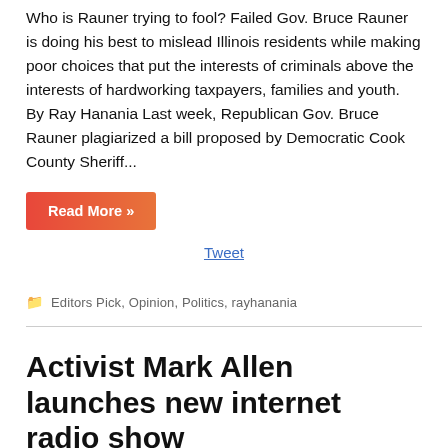Who is Rauner trying to fool? Failed Gov. Bruce Rauner is doing his best to mislead Illinois residents while making poor choices that put the interests of criminals above the interests of hardworking taxpayers, families and youth. By Ray Hanania Last week, Republican Gov. Bruce Rauner plagiarized a bill proposed by Democratic Cook County Sheriff...
Read More »
Tweet
Editors Pick, Opinion, Politics, rayhanania
Activist Mark Allen launches new internet radio show